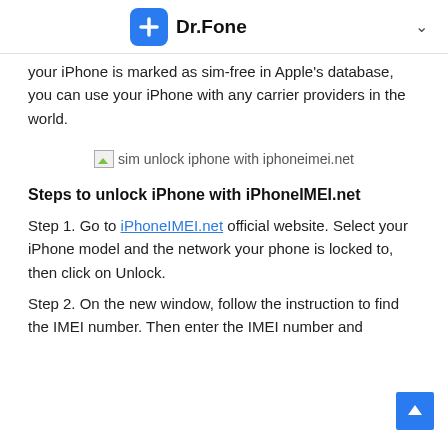Dr.Fone
your iPhone is marked as sim-free in Apple's database, you can use your iPhone with any carrier providers in the world.
[Figure (illustration): Broken image placeholder labeled 'sim unlock iphone with iphoneimei.net']
Steps to unlock iPhone with iPhoneIMEI.net
Step 1. Go to iPhoneIMEI.net official website. Select your iPhone model and the network your phone is locked to, then click on Unlock.
Step 2. On the new window, follow the instruction to find the IMEI number. Then enter the IMEI number and